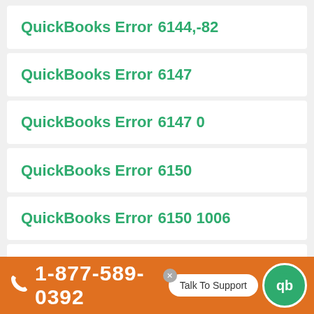QuickBooks Error 6144,-82
QuickBooks Error 6147
QuickBooks Error 6147 0
QuickBooks Error 6150
QuickBooks Error 6150 1006
QuickBooks Error 6175
1-877-589-0392  Talk To Support  atus Code 0